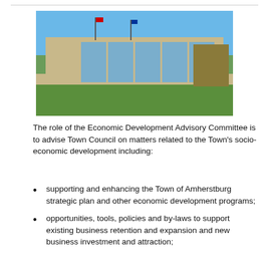[Figure (photo): Exterior photo of Amherstburg Municipal Building with two flagpoles and flags, blue sky, trees, and green lawn in foreground.]
The role of the Economic Development Advisory Committee is to advise Town Council on matters related to the Town's socio-economic development including:
supporting and enhancing the Town of Amherstburg strategic plan and other economic development programs;
opportunities, tools, policies and by-laws to support existing business retention and expansion and new business investment and attraction;